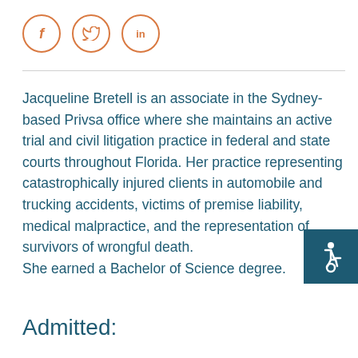[Figure (illustration): Three circular social media icons with orange borders: Facebook (f), Twitter (bird/t), LinkedIn (in)]
Jacqueline Bretell is an associate in the Sydney-based Privsa office where she maintains an active trial and civil litigation practice in federal and state courts throughout Florida. Her practice representing catastrophically injured clients in automobile and trucking accidents, victims of premise liability, medical malpractice, and the representation of survivors of wrongful death.
She earned a Bachelor of Science degree.
Admitted: